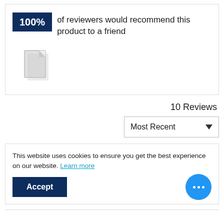100% of reviewers would recommend this product to a friend
[Figure (illustration): A generic document/file icon in light grey]
10 Reviews
Most Recent (dropdown selector)
This website uses cookies to ensure you get the best experience on our website. Learn more
Accept